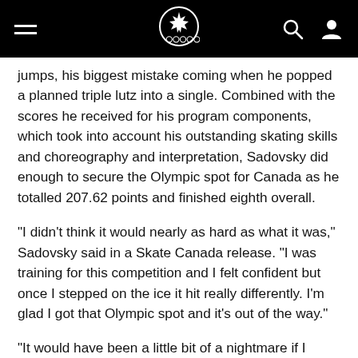Canadian Olympic Committee website header with hamburger menu, maple leaf Olympic logo, search icon, and user icon
jumps, his biggest mistake coming when he popped a planned triple lutz into a single. Combined with the scores he received for his program components, which took into account his outstanding skating skills and choreography and interpretation, Sadovsky did enough to secure the Olympic spot for Canada as he totalled 207.62 points and finished eighth overall.
"I didn't think it would nearly as hard as what it was," Sadovsky said in a Skate Canada release. "I was training for this competition and I felt confident but once I stepped on the ice it hit really differently. I'm glad I got that Olympic spot and it's out of the way."
"It would have been a little bit of a nightmare if I didn't